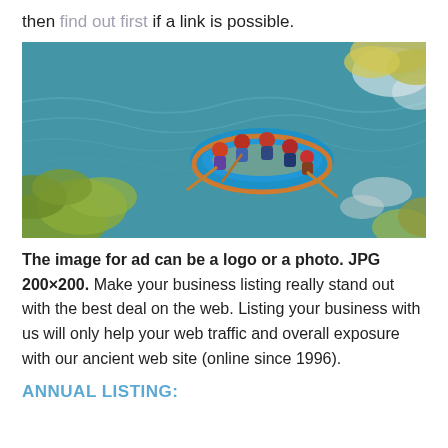then find out first if a link is possible.
[Figure (photo): Aerial view of people white-water rafting in a blue inflatable raft on a river, surrounded by green foliage and rocky white water rapids.]
The image for ad can be a logo or a photo. JPG 200×200. Make your business listing really stand out with the best deal on the web. Listing your business with us will only help your web traffic and overall exposure with our ancient web site (online since 1996).
ANNUAL LISTING: